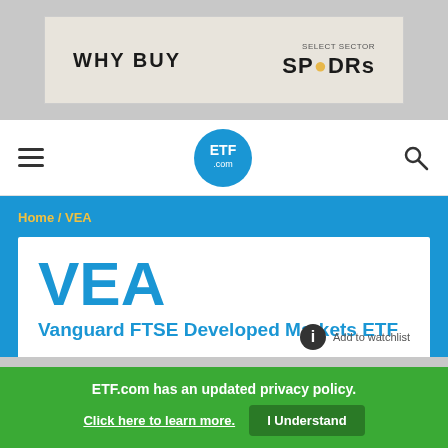[Figure (other): Advertisement banner: 'WHY BUY' text on left, SPDRs logo on right, on a beige background]
ETF.com navigation bar with hamburger menu, ETF.com logo, and search icon
Home / VEA
VEA
Vanguard FTSE Developed Markets ETF
ETF.com has an updated privacy policy. Click here to learn more. I Understand